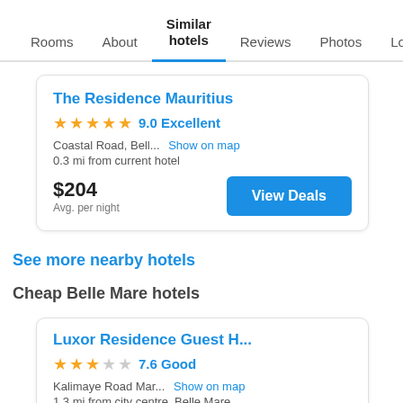Rooms | About | Similar hotels | Reviews | Photos | Loca…
The Residence Mauritius
★★★★★ 9.0 Excellent
Coastal Road, Bell...  Show on map
0.3 mi from current hotel
$204
Avg. per night
View Deals
See more nearby hotels
Cheap Belle Mare hotels
Luxor Residence Guest H...
★★★☆☆ 7.6 Good
Kalimaye Road Mar...  Show on map
1.3 mi from city centre, Belle Mare, Mauritius